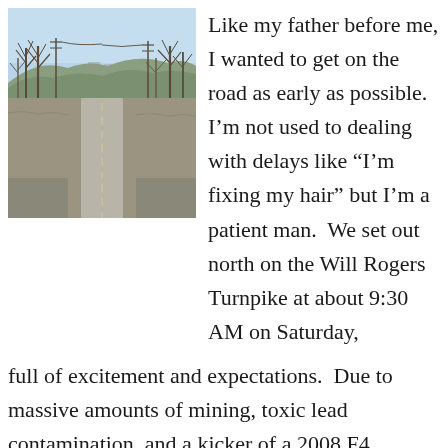[Figure (photo): A photo of an abandoned road stretching into the distance, flanked by bare leafless trees and utility poles. Hills visible in the background under a pale blue sky. The road appears cracked and empty.]
Like my father before me, I wanted to get on the road as early as possible.  I’m not used to dealing with delays like “I’m fixing my hair” but I’m a patient man.  We set out north on the Will Rogers Turnpike at about 9:30 AM on Saturday, full of excitement and expectations.  Due to massive amounts of mining, toxic lead contamination, and a kicker of a 2008 F4 tornado the town was evacuated and abandoned a few years ago.  Many of the structures have been torn down, and there’s still light traffic on the highway that runs through the old town center, but the grounds of Picher is an eerie sight.  Roads to nowhere.